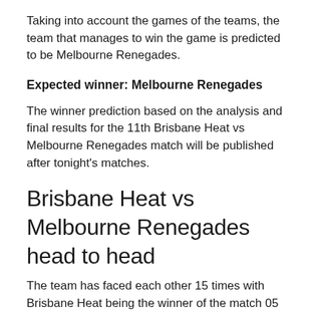Taking into account the games of the teams, the team that manages to win the game is predicted to be Melbourne Renegades.
Expected winner: Melbourne Renegades
The winner prediction based on the analysis and final results for the 11th Brisbane Heat vs Melbourne Renegades match will be published after tonight's matches.
Brisbane Heat vs Melbourne Renegades head to head
The team has faced each other 15 times with Brisbane Heat being the winner of the match 05 times. Melbourne Renegades is the